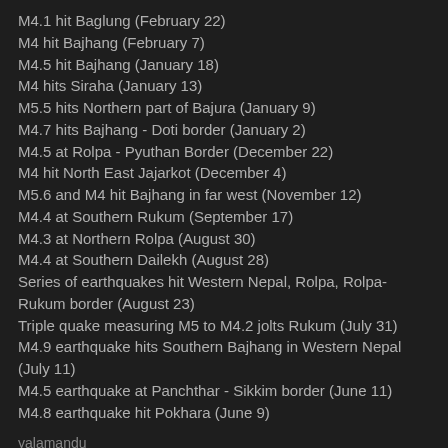M4.1 hit Baglung (February 22)
M4 hit Bajhang (February 7)
M4.5 hit Bajhang (January 18)
M4 hits Siraha (January 13)
M5.5 hits Northern part of Bajura (January 9)
M4.7 hits Bajhang - Doti border (January 2)
M4.5 at Rolpa - Pyuthan Border (December 22)
M4 hit North East Jajarkot (December 4)
M5.6 and M4 hit Bajhang in far west (November 12)
M4.4 at Southern Rukum (September 17)
M4.3 at Northern Rolpa (August 30)
M4.4 at Southern Dailekh (August 28)
Series of earthquakes hit Western Nepal, Rolpa, Rolpa-Rukum border (August 23)
Triple quake measuring M5 to M4.2 jolts Rukum (July 31)
M4.9 earthquake hits Southern Bajhang in Western Nepal (July 11)
M4.5 earthquake at Panchthar - Sikkim border (June 11)
M4.8 earthquake hit Pokhara (June 9)
yalamandu